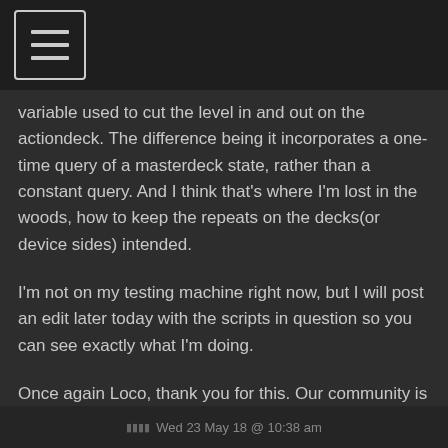[Figure (other): Hamburger menu icon button in top-left corner]
variable used to cut the level in and out on the actiondeck. The difference being it incorporates a one-time query of a masterdeck state, rather than a constant query. And I think that's where I'm lost in the woods, how to keep the repeats on the decks(or device sides) intended.
I'm not on my testing machine right now, but I will post an edit later today with the scripts in question so you can see exactly what I'm doing.
Once again Loco, thank you for this. Our community is a better place because of knowledgeable contributors like yourself.
Wed 23 May 18 @ 10:38 am